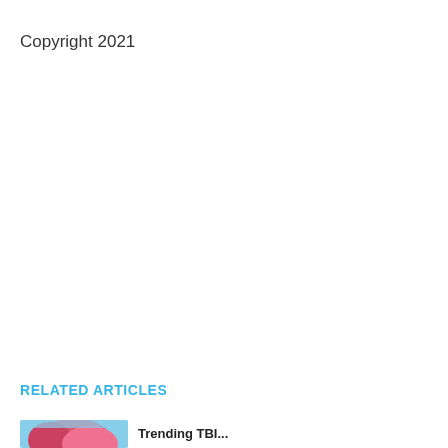Copyright 2021
RELATED ARTICLES
[Figure (photo): Partial thumbnail image of a related article, showing pink/red tones, cropped at bottom of page]
Trending TBI...